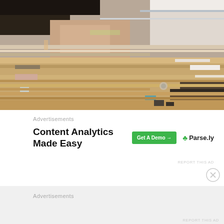[Figure (photo): Glitched/corrupted video frame showing a person's face and a room with wooden flooring, heavily pixelated and distorted with color blocks]
Advertisements
Content Analytics Made Easy
Get A Demo →
Parse.ly
REPORT THIS AD
Advertisements
REPORT THIS AD